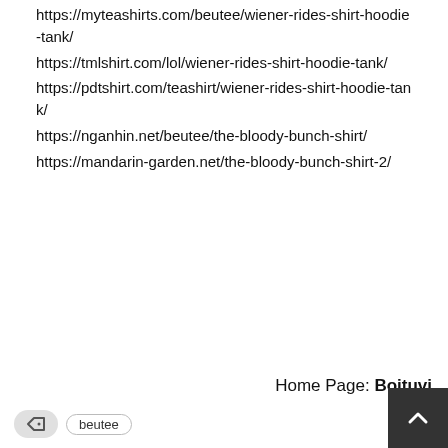https://myteashirts.com/beutee/wiener-rides-shirt-hoodie-tank/
https://tmlshirt.com/lol/wiener-rides-shirt-hoodie-tank/
https://pdtshirt.com/teashirt/wiener-rides-shirt-hoodie-tank/
https://nganhin.net/beutee/the-bloody-bunch-shirt/
https://mandarin-garden.net/the-bloody-bunch-shirt-2/
Home Page: Boituvi
beutee